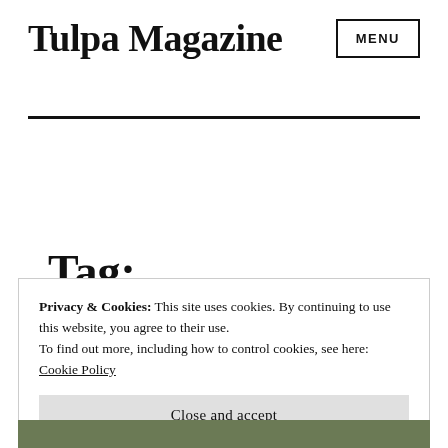Tulpa Magazine
MENU
Tag: isolation
Privacy & Cookies: This site uses cookies. By continuing to use this website, you agree to their use.
To find out more, including how to control cookies, see here:
Cookie Policy
Close and accept